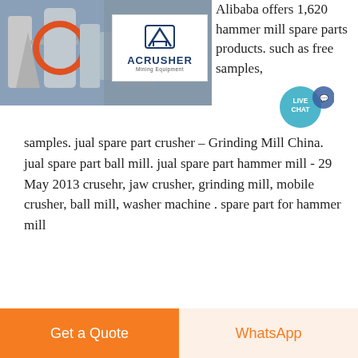[Figure (photo): Industrial hammer mill / crusher machinery equipment photo with ACRUSHER Mining Equipment logo overlay]
Alibaba offers 1,620 hammer mill spare parts products. such as free samples,
[Figure (other): Live Chat speech bubble icon with teal background, text: LIVE CHAT]
samples. jual spare part crusher – Grinding Mill China. jual spare part ball mill. jual spare part hammer mill - 29 May 2013 crusehr, jaw crusher, grinding mill, mobile crusher, ball mill, washer machine . spare part for hammer mill
Get Price
jual spare part hammer mill
Get a Quote
WhatsApp